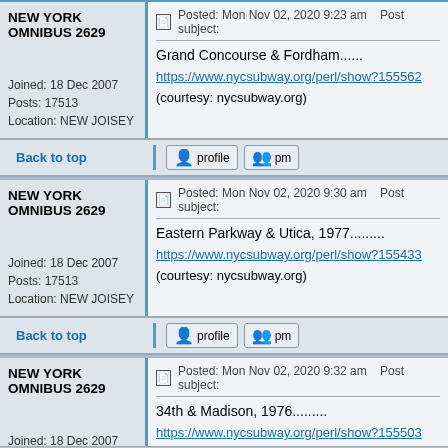NEW YORK OMNIBUS 2629
Joined: 18 Dec 2007
Posts: 17513
Location: NEW JOISEY
Posted: Mon Nov 02, 2020 9:23 am   Post subject:
Grand Concourse & Fordham......
https://www.nycsubway.org/perl/show?155562
(courtesy: nycsubway.org)
Back to top
NEW YORK OMNIBUS 2629
Joined: 18 Dec 2007
Posts: 17513
Location: NEW JOISEY
Posted: Mon Nov 02, 2020 9:30 am   Post subject:
Eastern Parkway & Utica, 1977........
https://www.nycsubway.org/perl/show?155433
(courtesy: nycsubway.org)
Back to top
NEW YORK OMNIBUS 2629
Joined: 18 Dec 2007
Posts: 17513
Location: NEW JOISEY
Posted: Mon Nov 02, 2020 9:32 am   Post subject:
34th & Madison, 1976.........
https://www.nycsubway.org/perl/show?155503